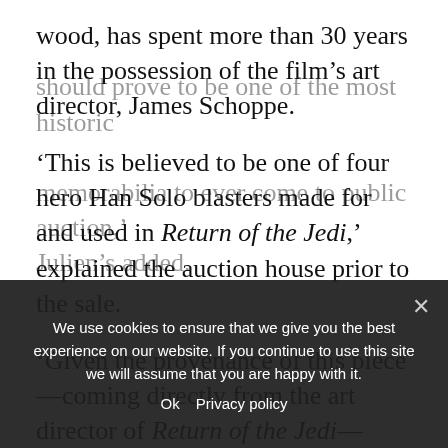wood, has spent more than 30 years in the possession of the film's art director, James Schoppe.
'This is believed to be one of four hero Han Solo blasters made for and used in Return of the Jedi,' explained the auction house prior to the sale.
'Given the provenance of this piece—coming directly from the art director of Return of the Jedi—along with the accompanying documentation, it should prove to be one of the most historic … memorabilia to ever come to public auction,' Julien's added.
We use cookies to ensure that we give you the best experience on our website. If you continue to use this site we will assume that you are happy with it. Ok Privacy policy